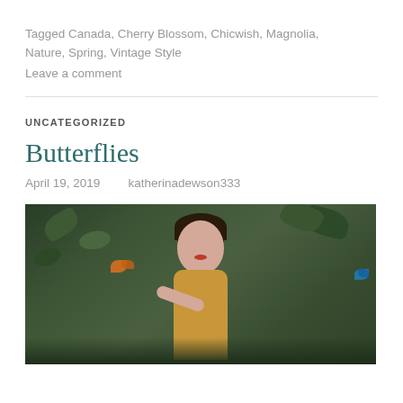Tagged Canada, Cherry Blossom, Chicwish, Magnolia, Nature, Spring, Vintage Style
Leave a comment
UNCATEGORIZED
Butterflies
April 19, 2019    katherinadewson333
[Figure (photo): A young woman with dark hair and bangs, wearing a yellow/mustard outfit, standing in front of lush green foliage, with orange and blue butterflies visible nearby. She appears to be holding out her hand.]